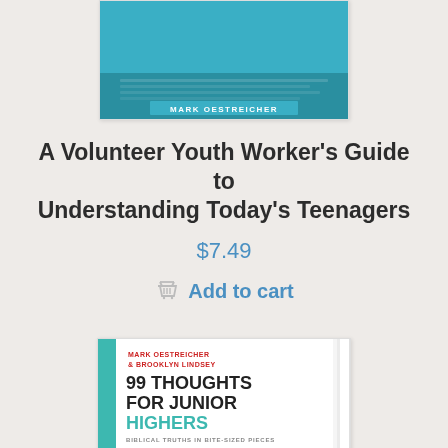[Figure (illustration): Book cover: A Volunteer Youth Worker's Guide to Understanding Today's Teenagers by Mark Oestreicher. Teal/blue cover with author name in white on a teal banner.]
A Volunteer Youth Worker's Guide to Understanding Today's Teenagers
$7.49
Add to cart
[Figure (illustration): Book cover: 99 Thoughts for Junior Highers: Biblical Truths in Bite-Sized Pieces by Mark Oestreicher & Brooklyn Lindsey. White cover with teal spine, red author text, bold black/dark title.]